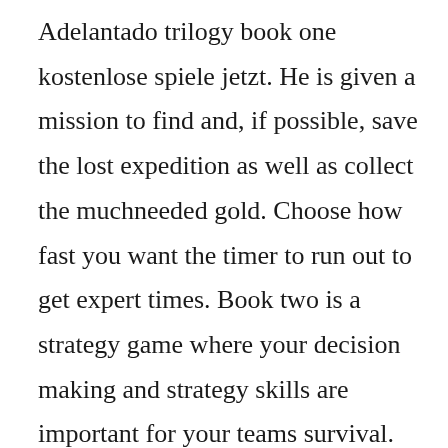Adelantado trilogy book one kostenlose spiele jetzt. He is given a mission to find and, if possible, save the lost expedition as well as collect the muchneeded gold. Choose how fast you want the timer to run out to get expert times. Book two is a strategy game where your decision making and strategy skills are important for your teams survival. Book one you will open the door to spain of the great discoveries and gold mining. Find your favorite download games and online games. In this timemanagement strategy game,